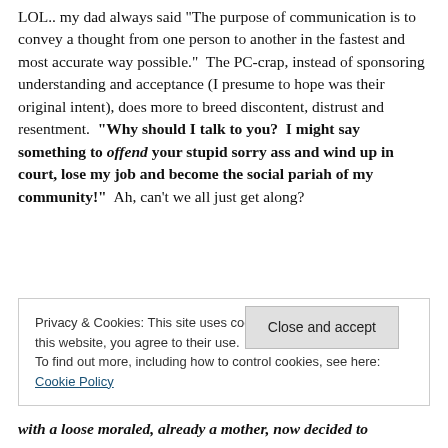LOL.. my dad always said "The purpose of communication is to convey a thought from one person to another in the fastest and most accurate way possible." The PC-crap, instead of sponsoring understanding and acceptance (I presume to hope was their original intent), does more to breed discontent, distrust and resentment. "Why should I talk to you? I might say something to offend your stupid sorry ass and wind up in court, lose my job and become the social pariah of my community!" Ah, can't we all just get along?
Privacy & Cookies: This site uses cookies. By continuing to use this website, you agree to their use. To find out more, including how to control cookies, see here: Cookie Policy
Close and accept
with a loose moraled, already a mother, now decided to